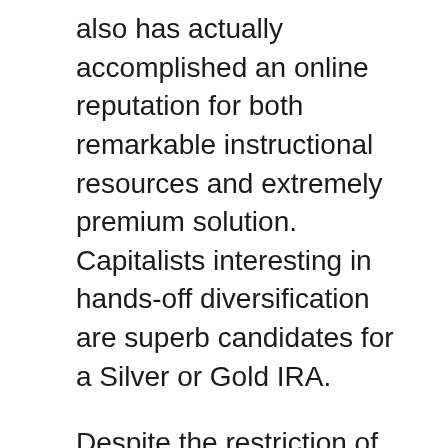also has actually accomplished an online reputation for both remarkable instructional resources and extremely premium solution. Capitalists interesting in hands-off diversification are superb candidates for a Silver or Gold IRA.
Despite the restriction of this sort of IRA to a solitary property course, investors get an opportunity to invest in precious metals as a bush for paper investments. This is different than investing in funds, supplies or bonds since the requirement to hang around doing marketing research to establish the best investments for a precious metals IRA has actually been eliminated. The client merely selects from a directory containing silver and also gold bullion to money their account